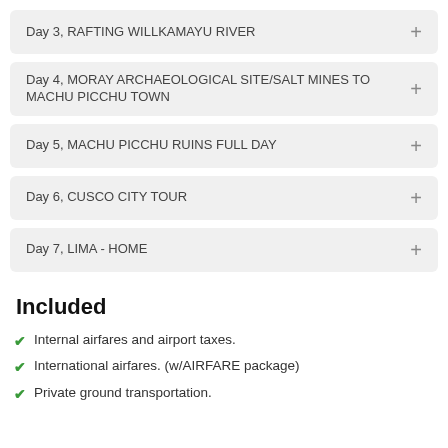Day 3, RAFTING WILLKAMAYU RIVER
Day 4, MORAY ARCHAEOLOGICAL SITE/SALT MINES TO MACHU PICCHU TOWN
Day 5, MACHU PICCHU RUINS FULL DAY
Day 6, CUSCO CITY TOUR
Day 7, LIMA - HOME
Included
Internal airfares and airport taxes.
International airfares. (w/AIRFARE package)
Private ground transportation.